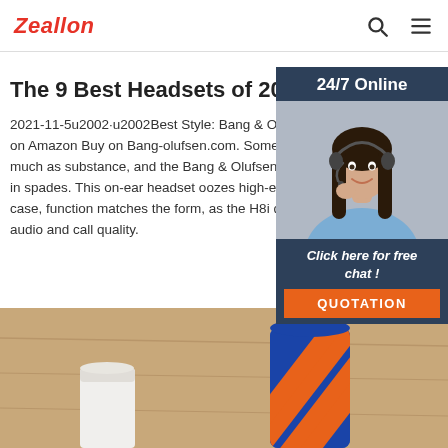Zeallon
The 9 Best Headsets of 2021
2021-11-5u2002·u2002Best Style: Bang & Olufsen on Amazon Buy on Bang-olufsen.com. Sometimes much as substance, and the Bang & Olufsen Beo in spades. This on-ear headset oozes high-end st case, function matches the form, as the H8i delive audio and call quality.
[Figure (photo): Woman with headset smiling, customer service representative]
24/7 Online
Click here for free chat !
QUOTATION
Get Price
[Figure (photo): Bottom image showing a blue and orange striped cup/mug on a wooden table with a white disposable coffee cup]